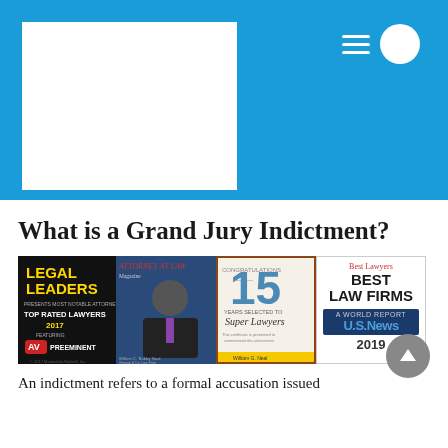[Figure (screenshot): Blue header banner with a white rectangular image placeholder on the left and hamburger menu icon plus circular nav icon on the top right]
What is a Grand Jury Indictment?
[Figure (illustration): Awards banner showing: Legal Leaders Top Rated Lawyers 2017 AV Preeminent badge, Attorney at Law magazine cover featuring a lawyer, 15 Years Selected to Super Lawyers badge, and Best Lawyers Best Law Firms US News 2019 badge. A gray play button circle overlaps the bottom right.]
An indictment refers to a formal accusation issued